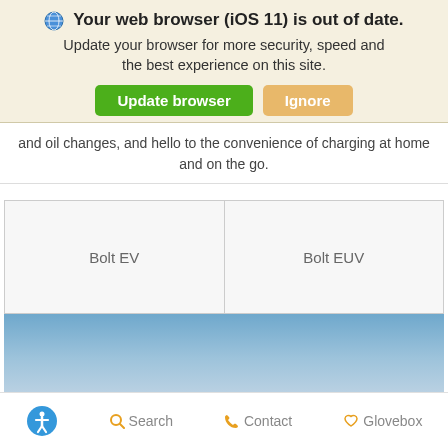Your web browser (iOS 11) is out of date.
Update your browser for more security, speed and the best experience on this site.
and oil changes, and hello to the convenience of charging at home and on the go.
| Bolt EV | Bolt EUV |
[Figure (photo): Blue sky gradient background image]
Accessibility  Search  Contact  Glovebox